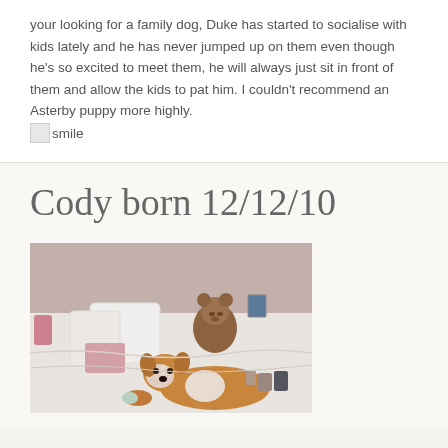your looking for a family dog, Duke has started to socialise with kids lately and he has never jumped up on them even though he's so excited to meet them, he will always just sit in front of them and allow the kids to pat him. I couldn't recommend an Asterby puppy more highly. [smile]
Cody born 12/12/10
[Figure (photo): A dog lying on a bed with white bedding. A brown teddy bear is visible in the background along with pillows. The dog appears to be a brown and white collie-type breed, lying down and looking at the camera.]